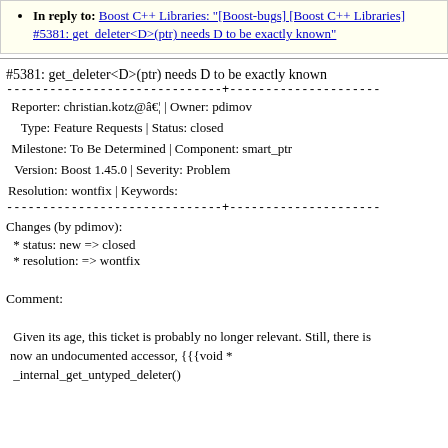In reply to: Boost C++ Libraries: "[Boost-bugs] [Boost C++ Libraries] #5381: get_deleter<D>(ptr) needs D to be exactly known"
#5381: get_deleter<D>(ptr) needs D to be exactly known
------------------------------+---------------------
Reporter: christian.kotz@â€¦ | Owner: pdimov
Type: Feature Requests | Status: closed
Milestone: To Be Determined | Component: smart_ptr
Version: Boost 1.45.0 | Severity: Problem
Resolution: wontfix | Keywords:
------------------------------+---------------------
Changes (by pdimov):
* status: new => closed
* resolution: => wontfix
Comment:
Given its age, this ticket is probably no longer relevant. Still, there is
now an undocumented accessor, {{{void *
_internal_get_untyped_deleter()